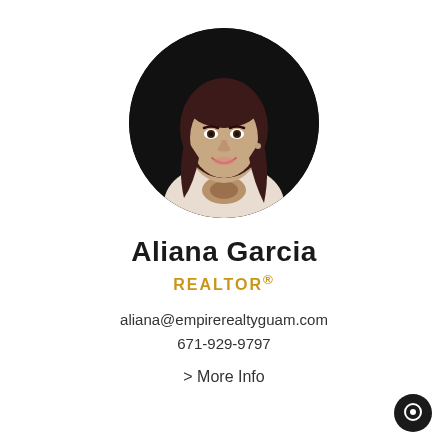[Figure (photo): Circular headshot photo of Aliana Garcia, a woman with long dark wavy hair, wearing a light blazer, smiling, against a black background]
Aliana Garcia
REALTOR®
aliana@empirerealtyguam.com
671-929-9797
> More Info
[Figure (illustration): Chat/messenger icon — small black circle with white chat bubble dot, bottom-right corner]